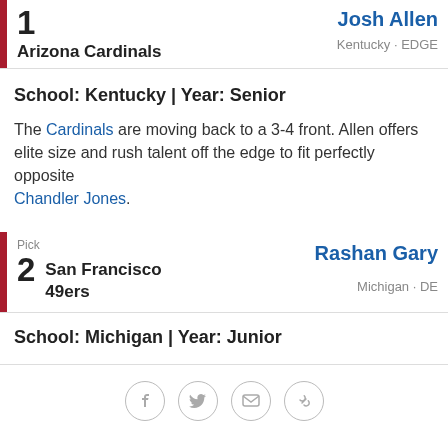1 Arizona Cardinals — Josh Allen, Kentucky · EDGE
School: Kentucky | Year: Senior
The Cardinals are moving back to a 3-4 front. Allen offers elite size and rush talent off the edge to fit perfectly opposite Chandler Jones.
Pick 2 San Francisco 49ers — Rashan Gary, Michigan · DE
School: Michigan | Year: Junior
[Figure (other): Social sharing icons: Facebook, Twitter, Email, Link]